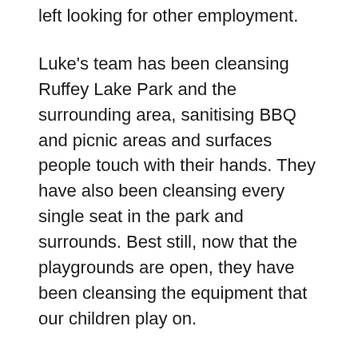left looking for other employment.
Luke's team has been cleansing Ruffey Lake Park and the surrounding area, sanitising BBQ and picnic areas and surfaces people touch with their hands. They have also been cleansing every single seat in the park and surrounds. Best still, now that the playgrounds are open, they have been cleansing the equipment that our children play on.
Vas and his team has been cleansing the stretch of Doncaster Road between Westfield and Springvale Road, including focusing on cleansing MC Square, pedestrian crossing signals and every bus stop. Both Luke and Vas have been enjoying the new role, and say that the comments of appreciation from the public have been especially gratifying.